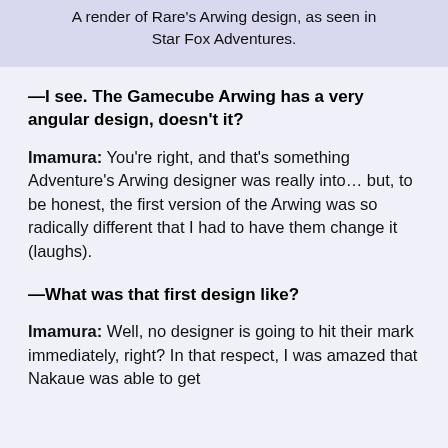A render of Rare's Arwing design, as seen in Star Fox Adventures.
—I see. The Gamecube Arwing has a very angular design, doesn't it?
Imamura: You're right, and that's something Adventure's Arwing designer was really into… but, to be honest, the first version of the Arwing was so radically different that I had to have them change it (laughs).
—What was that first design like?
Imamura: Well, no designer is going to hit their mark immediately, right? In that respect, I was amazed that Nakaue was able to get